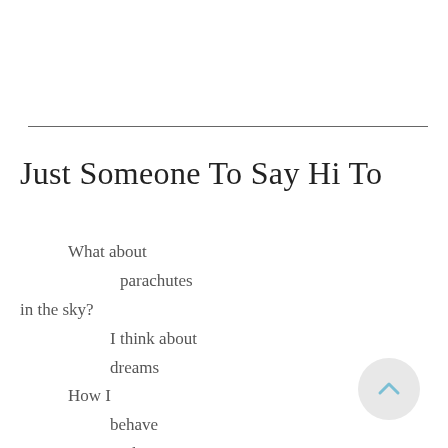Just Someone To Say Hi To
What about
    parachutes
in the sky?
    I think about
    dreams
How I
    behave
    in the
[Figure (other): Scroll-to-top button with upward chevron arrow in light blue on light grey circular background]